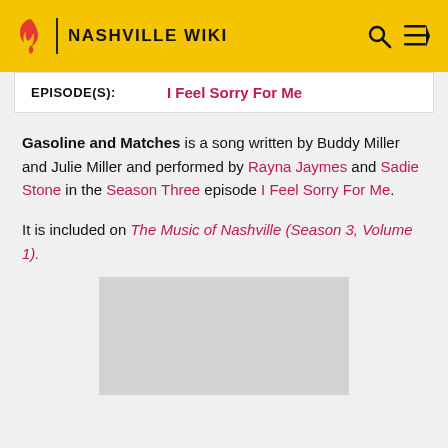NASHVILLE WIKI
| EPISODE(S): | I Feel Sorry For Me |
| --- | --- |
Gasoline and Matches is a song written by Buddy Miller and Julie Miller and performed by Rayna Jaymes and Sadie Stone in the Season Three episode I Feel Sorry For Me.
It is included on The Music of Nashville (Season 3, Volume 1).
[Figure (photo): Gray image placeholder at bottom of page]